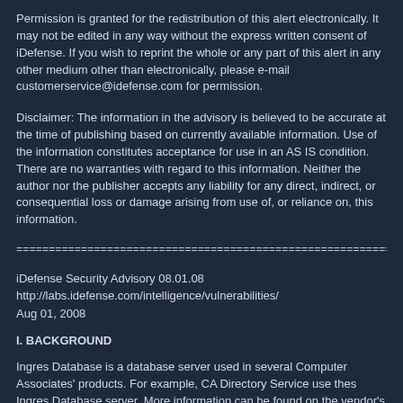Permission is granted for the redistribution of this alert electronically. It may not be edited in any way without the express written consent of iDefense. If you wish to reprint the whole or any part of this alert in any other medium other than electronically, please e-mail customerservice@idefense.com for permission.
Disclaimer: The information in the advisory is believed to be accurate at the time of publishing based on currently available information. Use of the information constitutes acceptance for use in an AS IS condition. There are no warranties with regard to this information. Neither the author nor the publisher accepts any liability for any direct, indirect, or consequential loss or damage arising from use of, or reliance on, this information.
================================================================
iDefense Security Advisory 08.01.08
http://labs.idefense.com/intelligence/vulnerabilities/
Aug 01, 2008
I. BACKGROUND
Ingres Database is a database server used in several Computer Associates' products. For example, CA Directory Service use thes Ingres Database server. More information can be found on the vendor's website at the following URL.
http://ingres.com/downloads/prod-cert-download.php
II. DESCRIPTION
Local exploitation of an untrusted library path vulnerability in the